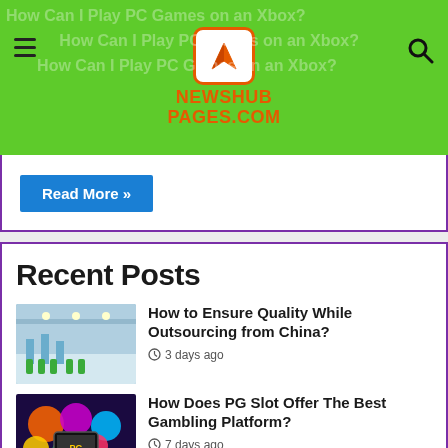NewshubPages.com
Read More »
Recent Posts
How to Ensure Quality While Outsourcing from China? — 3 days ago
How Does PG Slot Offer The Best Gambling Platform? — 7 days ago
Hiring a knock-down home builder — 1 week ago